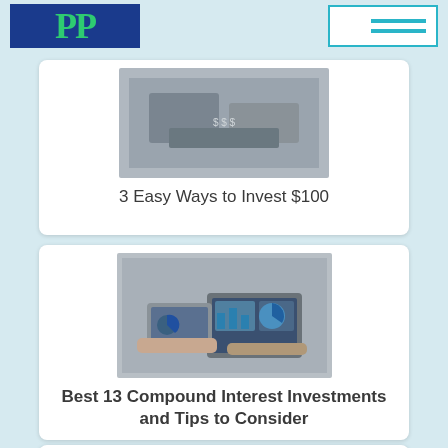PP [logo] | Menu
[Figure (photo): Photo of bundled US dollar bills on a surface]
3 Easy Ways to Invest $100
[Figure (photo): Two business people looking at charts on a tablet and laptop]
Best 13 Compound Interest Investments and Tips to Consider
[Figure (photo): Person in a car holding a fan of cash money]